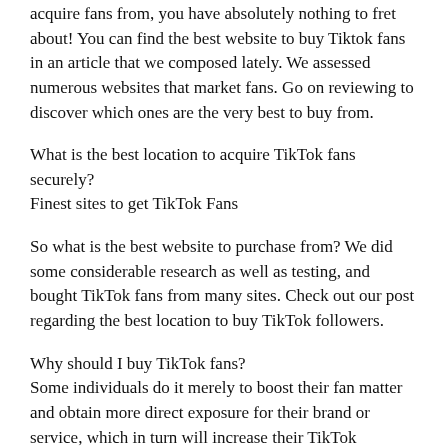acquire fans from, you have absolutely nothing to fret about! You can find the best website to buy Tiktok fans in an article that we composed lately. We assessed numerous websites that market fans. Go on reviewing to discover which ones are the very best to buy from.
What is the best location to acquire TikTok fans securely?
Finest sites to get TikTok Fans
So what is the best website to purchase from? We did some considerable research as well as testing, and bought TikTok fans from many sites. Check out our post regarding the best location to buy TikTok followers.
Why should I buy TikTok fans?
Some individuals do it merely to boost their fan matter and obtain more direct exposure for their brand or service, which in turn will increase their TikTok